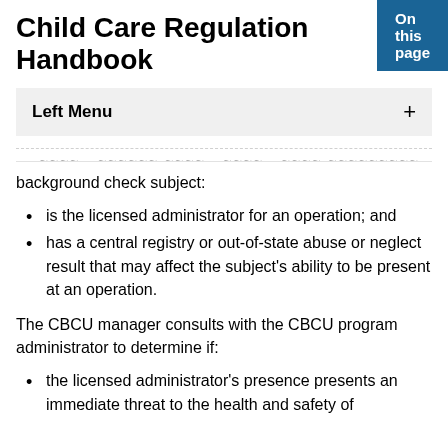On this page
Child Care Regulation Handbook
Left Menu +
...shall consult with a CBCU manager if the background check subject:
is the licensed administrator for an operation; and
has a central registry or out-of-state abuse or neglect result that may affect the subject's ability to be present at an operation.
The CBCU manager consults with the CBCU program administrator to determine if:
the licensed administrator's presence presents an immediate threat to the health and safety of